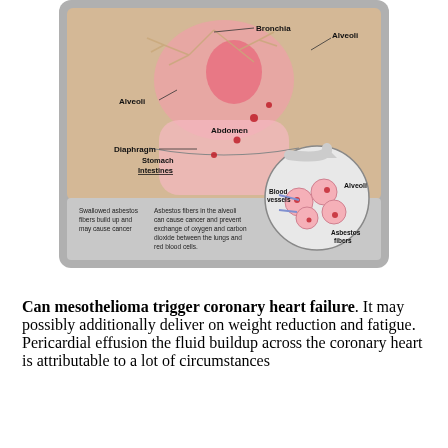[Figure (illustration): Medical illustration showing how asbestos fibers affect the human body. Labels include: Bronchia, Alveoli, Diaphragm, Abdomen, Stomach, Intestines. Annotations state: 'Swallowed asbestos fibers build up and may cause cancer'; 'Asbestos fibers in the alveoli can cause cancer and prevent exchange of oxygen and carbon dioxide between the lungs and red blood cells.' A circular inset shows Blood vessels, Alveoli, and Asbestos fibers in detail. A curved arrow points to the inset.]
Can mesothelioma trigger coronary heart failure. It may possibly additionally deliver on weight reduction and fatigue. Pericardial effusion the fluid buildup across the coronary heart is attributable to a lot of circumstances